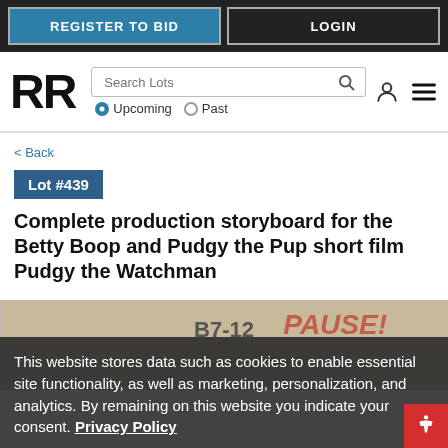REGISTER TO BID | LOGIN
[Figure (logo): RR auction house logo with search bar, Upcoming/Past radio buttons, user icon, and menu icon]
< Back
Lot #439
Complete production storyboard for the Betty Boop and Pudgy the Pup short film Pudgy the Watchman
[Figure (photo): Scanned production storyboard document with handwritten text B7-12 and red annotations]
This website stores data such as cookies to enable essential site functionality, as well as marketing, personalization, and analytics. By remaining on this website you indicate your consent. Privacy Policy